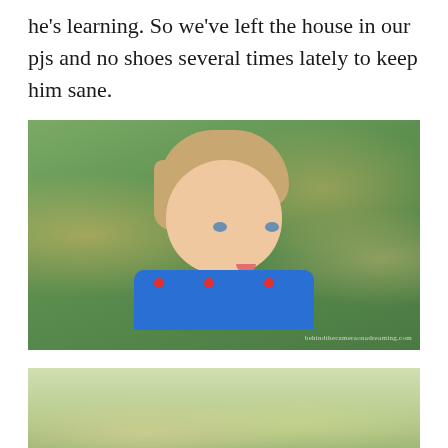he's learning. So we've left the house in our pjs and no shoes several times lately to keep him sane.
[Figure (photo): Close-up portrait of a toddler with blonde hair and blue eyes wearing a blue patterned shirt, pouting expression, photographed outdoors with blurred green bokeh background. Watermark: behindthecameraonadreaming.com]
[Figure (photo): Partial photo of an outdoor scene with blurred green and yellow bokeh background, bottom of page.]